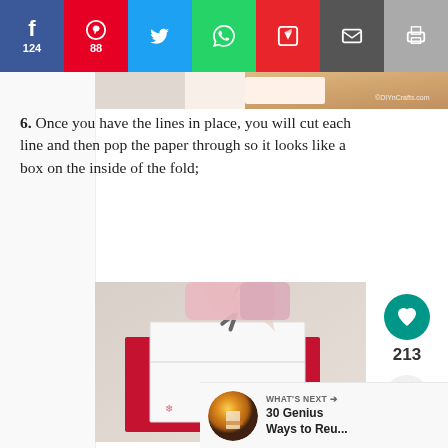[Figure (screenshot): Social sharing bar with Facebook (124), Pinterest (88), Twitter, WhatsApp, Flipboard, Email, and Print buttons]
[Figure (photo): Partial top image of craft project showing colored paper]
6. Once you have the lines in place, you will cut each line and then pop the paper through so it looks like a box on the inside of the fold;
[Figure (photo): Hands using scissors to cut white folded paper placed on red card stock, craft project in progress. Watermark: ©DIYnCrafts.com]
[Figure (infographic): Right sidebar with heart/like button showing 213 likes and a share button]
[Figure (screenshot): What's Next section with thumbnail and text '30 Genius Ways to Reu...']